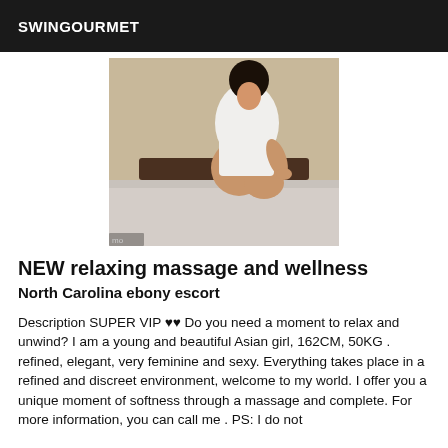SWINGOURMET
[Figure (photo): A young Asian woman in a white dress seated on a bed, photographed from the side/back.]
NEW relaxing massage and wellness
North Carolina ebony escort
Description SUPER VIP ❤❤ Do you need a moment to relax and unwind? I am a young and beautiful Asian girl, 162CM, 50KG . refined, elegant, very feminine and sexy. Everything takes place in a refined and discreet environment, welcome to my world. I offer you a unique moment of softness through a massage and complete. For more information, you can call me . PS: I do not